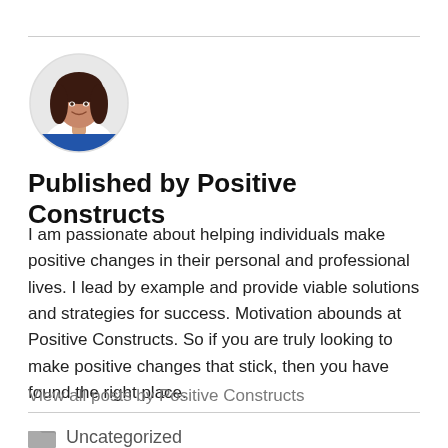[Figure (photo): Circular avatar photo of a woman with dark hair smiling, wearing white, with a blue banner at the bottom of the circle]
Published by Positive Constructs
I am passionate about helping individuals make positive changes in their personal and professional lives. I lead by example and provide viable solutions and strategies for success. Motivation abounds at Positive Constructs. So if you are truly looking to make positive changes that stick, then you have found the right place.
View all posts by Positive Constructs
Uncategorized
coaching, happiness, health, nlp, wellness